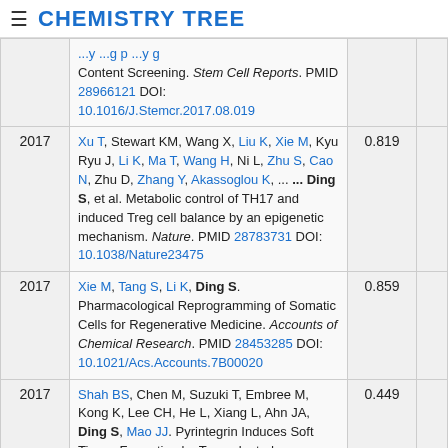≡ CHEMISTRY TREE
| Year | Reference | Score |  |
| --- | --- | --- | --- |
|  | ...y ...g p ...y g Content Screening. Stem Cell Reports. PMID 28966121 DOI: 10.1016/J.Stemcr.2017.08.019 |  |  |
| 2017 | Xu T, Stewart KM, Wang X, Liu K, Xie M, Kyu Ryu J, Li K, Ma T, Wang H, Ni L, Zhu S, Cao N, Zhu D, Zhang Y, Akassoglou K, ... ... Ding S, et al. Metabolic control of TH17 and induced Treg cell balance by an epigenetic mechanism. Nature. PMID 28783731 DOI: 10.1038/Nature23475 | 0.819 |  |
| 2017 | Xie M, Tang S, Li K, Ding S. Pharmacological Reprogramming of Somatic Cells for Regenerative Medicine. Accounts of Chemical Research. PMID 28453285 DOI: 10.1021/Acs.Accounts.7B00020 | 0.859 |  |
| 2017 | Shah BS, Chen M, Suzuki T, Embree M, Kong K, Lee CH, He L, Xiang L, Ahn JA, Ding S, Mao JJ. Pyrintegrin Induces Soft Tissue Formation by Transplanted or Endogenous Cells. Scientific... | 0.449 |  |